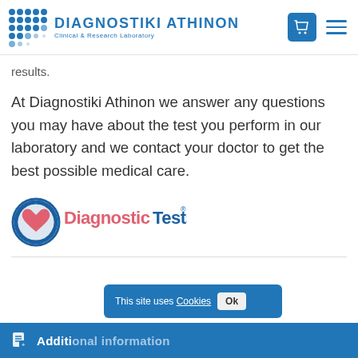DIAGNOSTIKI ATHINON — Clinical & Research Laboratory
results.
At Diagnostiki Athinon we answer any questions you may have about the test you perform in our laboratory and we contact your doctor to get the best possible medical care.
[Figure (logo): DiagnosticTests logo with heart-shaped icon, pink and blue color scheme]
This site uses Cookies
Additional information